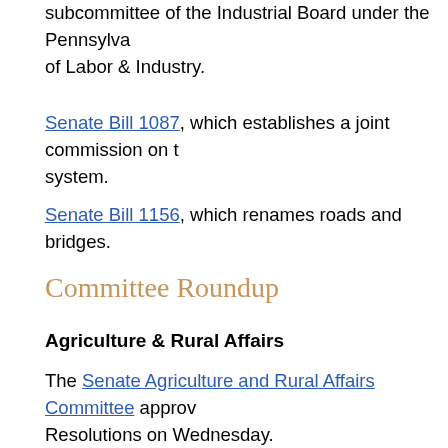subcommittee of the Industrial Board under the Pennsylvania Department of Labor & Industry.
Senate Bill 1087, which establishes a joint commission on the system.
Senate Bill 1156, which renames roads and bridges.
Committee Roundup
Agriculture & Rural Affairs
The Senate Agriculture and Rural Affairs Committee approved Resolutions on Wednesday.
Senate Resolution 382 urges the federal Food & Drug Administration to enforce existing regulations that establish clear standards.
Senate Resolution 384 directs the Legislative Budget and Finance Committee to identify and examine the statutes, best practices and pro